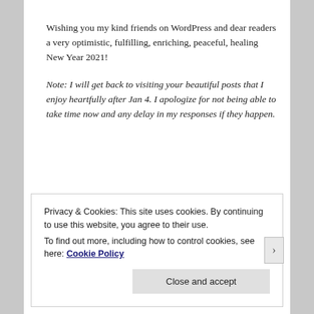Wishing you my kind friends on WordPress and dear readers a very optimistic, fulfilling, enriching, peaceful, healing New Year 2021!
Note: I will get back to visiting your beautiful posts that I enjoy heartfully after Jan 4. I apologize for not being able to take time now and any delay in my responses if they happen.
Privacy & Cookies: This site uses cookies. By continuing to use this website, you agree to their use.
To find out more, including how to control cookies, see here: Cookie Policy